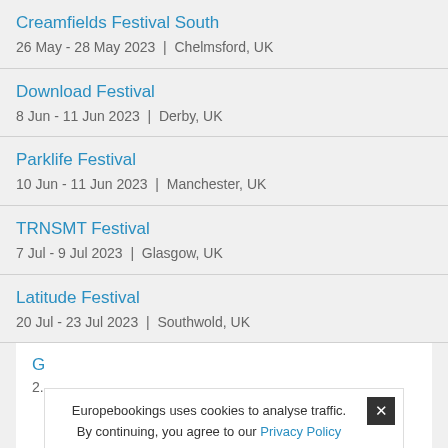Creamfields Festival South
26 May - 28 May 2023 | Chelmsford, UK
Download Festival
8 Jun - 11 Jun 2023 | Derby, UK
Parklife Festival
10 Jun - 11 Jun 2023 | Manchester, UK
TRNSMT Festival
7 Jul - 9 Jul 2023 | Glasgow, UK
Latitude Festival
20 Jul - 23 Jul 2023 | Southwold, UK
G... (partial)
Europebookings uses cookies to analyse traffic. By continuing, you agree to our Privacy Policy